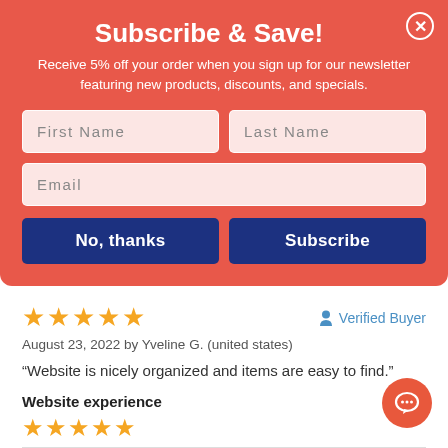Subscribe & Save!
Receive 5% off your order when you sign up for our newsletter featuring new products, discounts, and specials.
First Name
Last Name
Email
No, thanks
Subscribe
[Figure (other): Five filled orange stars rating display]
Verified Buyer
August 23, 2022 by Yveline G. (united states)
“Website is nicely organized and items are easy to find.”
Website experience
[Figure (other): Four filled orange stars rating display for Website experience]